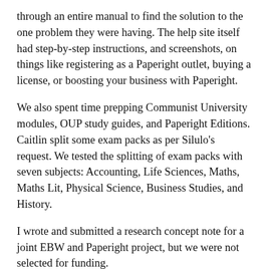through an entire manual to find the solution to the one problem they were having. The help site itself had step-by-step instructions, and screenshots, on things like registering as a Paperight outlet, buying a license, or boosting your business with Paperight.
We also spent time prepping Communist University modules, OUP study guides, and Paperight Editions. Caitlin split some exam packs as per Silulo's request. We tested the splitting of exam packs with seven subjects: Accounting, Life Sciences, Maths, Maths Lit, Physical Science, Business Studies, and History.
I wrote and submitted a research concept note for a joint EBW and Paperight project, but we were not selected for funding.
Publishers registered